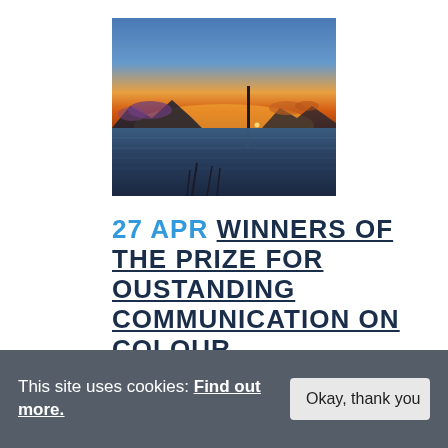[Figure (photo): A sunset photograph showing a calm sea/bay with silhouetted mountains and a tall structure (lighthouse or tower) on the horizon. The sky transitions from deep blue at the top through orange and amber hues near the horizon. Reflections appear on the water below.]
27 APR WINNERS OF THE PRIZE FOR OUSTANDING COMMUNICATION ON COLOUR
This site uses cookies: Find out more.